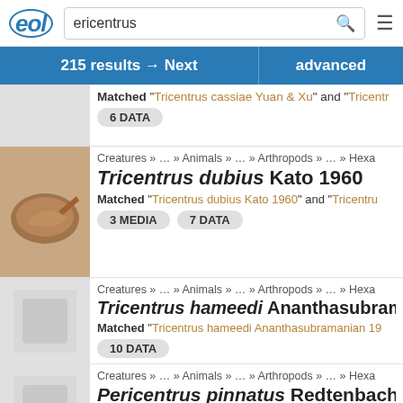eol | ericentrus [search] ≡
215 results → Next | advanced
Matched "Tricentrus cassiae Yuan & Xu" and "Tricentr..." 6 DATA
Creatures » … » Animals » … » Arthropods » … » Hexa...
Tricentrus dubius Kato 1960
Matched "Tricentrus dubius Kato 1960" and "Tricentru..." 3 MEDIA 7 DATA
Creatures » … » Animals » … » Arthropods » … » Hexa...
Tricentrus hameedi Ananthasubramanian 1996
Matched "Tricentrus hameedi Ananthasubramanian 19..." 10 DATA
Creatures » … » Animals » … » Arthropods » » Hexa...
Pericentrus pinnatus Redtenbacher 1908
Matched "Pericentrus pinnatus Redtenbacher 1908" a... 6 DATA 1 ARTICLE